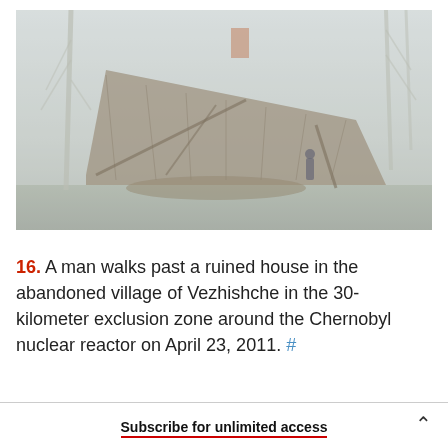[Figure (photo): A man walks past a collapsed/ruined wooden house in a foggy, overgrown setting. The roof has caved in dramatically. Bare trees surround the structure. The scene is muted and washed out in color.]
16. A man walks past a ruined house in the abandoned village of Vezhishche in the 30-kilometer exclusion zone around the Chernobyl nuclear reactor on April 23, 2011. #
Subscribe for unlimited access